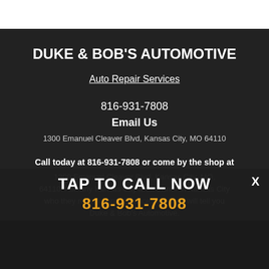DUKE & BOB'S AUTOMOTIVE
Auto Repair Services
816-931-7808
Email Us
1300 Emanuel Cleaver Blvd, Kansas City, MO 64110
Call today at 816-931-7808 or come by the shop at
1300 Emanuel Cleaver Blvd, Kansas City, MO, 64110. Ask any Kansas City area owner in Kansas City who they recommend. Chances are they will tell you Duke & Bob's Automotive.
TAP TO CALL NOW
816-931-7808